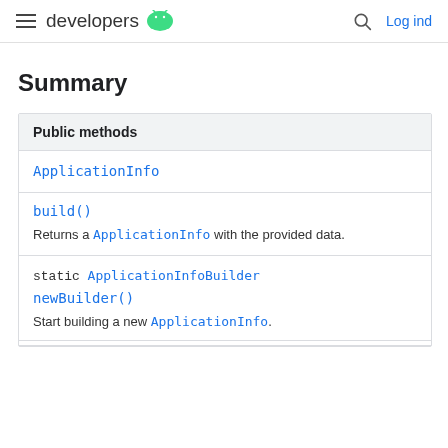developers | Log ind
Summary
| Public methods |
| --- |
| ApplicationInfo |  |  |
| build() | Returns a ApplicationInfo with the provided data. |  |
| static ApplicationInfoBuilder |  |  |
| newBuilder() | Start building a new ApplicationInfo. |  |